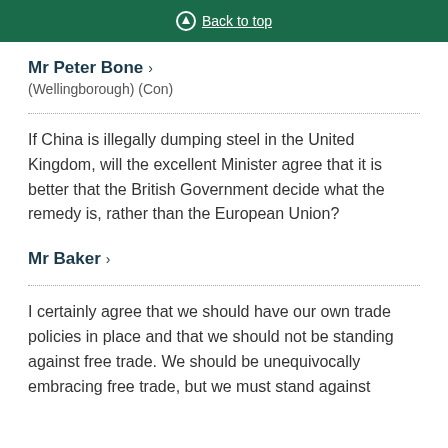Back to top
Mr Peter Bone
(Wellingborough) (Con)
If China is illegally dumping steel in the United Kingdom, will the excellent Minister agree that it is better that the British Government decide what the remedy is, rather than the European Union?
Mr Baker
I certainly agree that we should have our own trade policies in place and that we should not be standing against free trade. We should be unequivocally embracing free trade, but we must stand against